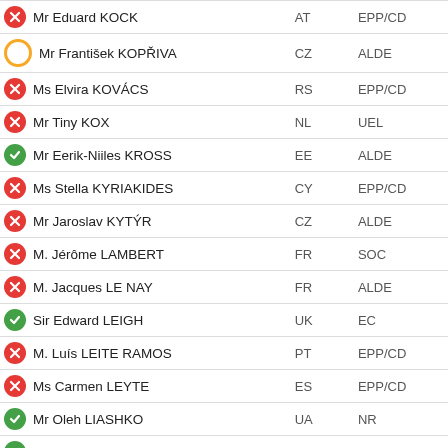| Name | Country | Group |
| --- | --- | --- |
| Mr Eduard KOCK | AT | EPP/CD |
| Mr František KOPŘIVA | CZ | ALDE |
| Ms Elvira KOVÁCS | RS | EPP/CD |
| Mr Tiny KOX | NL | UEL |
| Mr Eerik-Niiles KROSS | EE | ALDE |
| Ms Stella KYRIAKIDES | CY | EPP/CD |
| Mr Jaroslav KYTÝR | CZ | ALDE |
| M. Jérôme LAMBERT | FR | SOC |
| M. Jacques LE NAY | FR | ALDE |
| Sir Edward LEIGH | UK | EC |
| M. Luís LEITE RAMOS | PT | EPP/CD |
| Ms Carmen LEYTE | ES | EPP/CD |
| Mr Oleh LIASHKO | UA | NR |
| Mr Ian LIDDELL-GRAINGER | UK | EC |
| Mr Georgii LOGVYNSKYI | UA | EPP/CD |
| M. Filippo LOMBARDI | CH | EPP/CD |
| M. Pere LÓPEZ | AD | SOC |